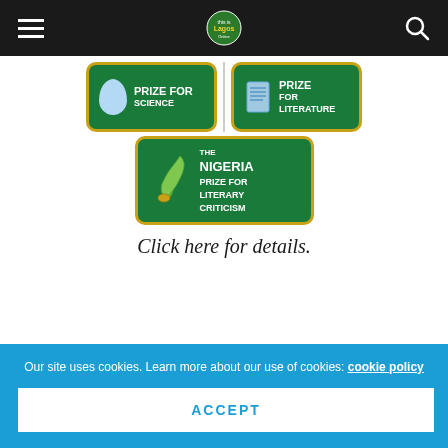Navigation bar with hamburger menu, logo, and search icon
[Figure (illustration): Nigeria Prize for Science and Nigeria Prize for Literature badge logos shown side by side, and Nigeria Prize for Literary Criticism badge below, followed by italic text 'Click here for details.']
RECENT COMMENTS
Our site uses cookies. Learn more about our use of cookies: cookie policy
ACCEPT